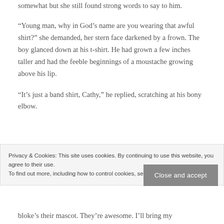somewhat but she still found strong words to say to him.
“Young man, why in God’s name are you wearing that awful shirt?” she demanded, her stern face darkened by a frown. The boy glanced down at his t-shirt. He had grown a few inches taller and had the feeble beginnings of a moustache growing above his lip.
“It’s just a band shirt, Cathy,” he replied, scratching at his bony elbow.
Privacy & Cookies: This site uses cookies. By continuing to use this website, you agree to their use.
To find out more, including how to control cookies, see here: Cookie Policy
Close and accept
bloke’s their mascot. They’re awesome. I’ll bring my